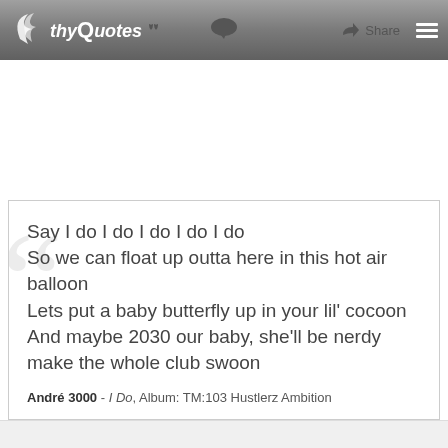thy Quotes — Share
Say I do I do I do I do I do
So we can float up outta here in this hot air balloon
Lets put a baby butterfly up in your lil' cocoon
And maybe 2030 our baby, she'll be nerdy make the whole club swoon
André 3000 - I Do, Album: TM:103 Hustlerz Ambition